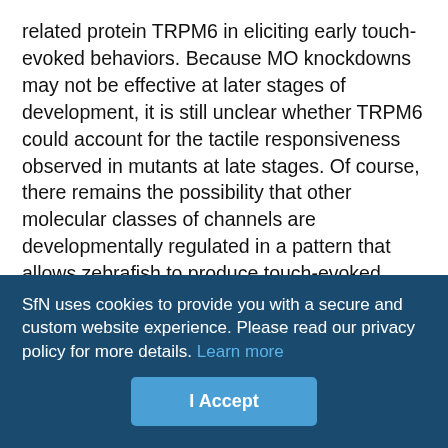related protein TRPM6 in eliciting early touch-evoked behaviors. Because MO knockdowns may not be effective at later stages of development, it is still unclear whether TRPM6 could account for the tactile responsiveness observed in mutants at late stages. Of course, there remains the possibility that other molecular classes of channels are developmentally regulated in a pattern that allows zebrafish to produce touch-evoked responses without TRPM7 at certain stages of development.
In summary, we have shown that TRPM7 is transiently required within sensory neurons for the activation of touch-evoked behaviors, and an attractive hypothesis to explain this observation is that TRPM7 potentiates transmitter release at central synapses between
SfN uses cookies to provide you with a secure and custom website experience. Please read our privacy policy for more details. Learn more